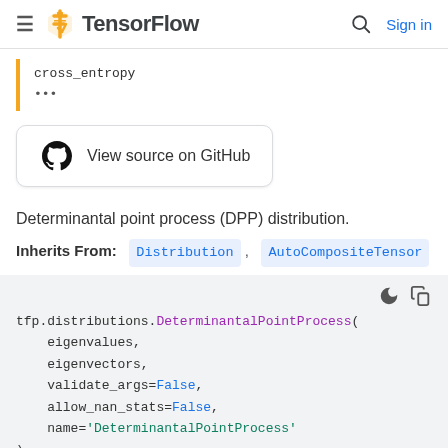TensorFlow  Sign in
cross_entropy
...
[Figure (logo): GitHub logo with text 'View source on GitHub']
Determinantal point process (DPP) distribution.
Inherits From:  Distribution ,  AutoCompositeTensor
tfp.distributions.DeterminantalPointProcess(
    eigenvalues,
    eigenvectors,
    validate_args=False,
    allow_nan_stats=False,
    name='DeterminantalPointProcess'
)